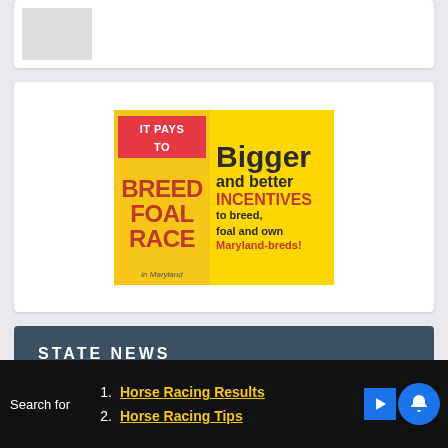[Figure (screenshot): Top card with a partially visible thumbnail image on a white background card]
[Figure (illustration): Advertisement banner: 'IT PAYS TO BREED FOAL RACE in Maryland — Bigger and better INCENTIVES to breed, foal and own Maryland-breds!' on yellow and red background]
STATE NEWS
Home
Delaware
Search for
1. Horse Racing Results
2. Horse Racing Tips